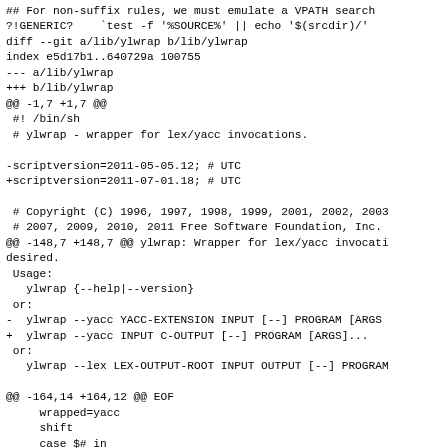## For non-suffix rules, we must emulate a VPATH search
?!GENERIC?    `test -f '%SOURCE%' || echo '$(srcdir)/'
diff --git a/lib/ylwrap b/lib/ylwrap
index e5d17b1..640729a 100755
--- a/lib/ylwrap
+++ b/lib/ylwrap
@@ -1,7 +1,7 @@
 #! /bin/sh
 # ylwrap - wrapper for lex/yacc invocations.

-scriptversion=2011-05-05.12; # UTC
+scriptversion=2011-07-01.18; # UTC

 # Copyright (C) 1996, 1997, 1998, 1999, 2001, 2002, 2003
 # 2007, 2009, 2010, 2011 Free Software Foundation, Inc.
@@ -148,7 +148,7 @@ ylwrap: Wrapper for lex/yacc invocati
desired.
 Usage:
   ylwrap {--help|--version}
 or:
-  ylwrap --yacc YACC-EXTENSION INPUT [--] PROGRAM [ARGS
+  ylwrap --yacc INPUT C-OUTPUT [--] PROGRAM [ARGS]...
 or:
   ylwrap --lex LEX-OUTPUT-ROOT INPUT OUTPUT [--] PROGRAM

@@ -164,14 +164,12 @@ EOF
     wrapped=yacc
     shift
     case $# in
-      0) usage_error "missing yacc extension";;